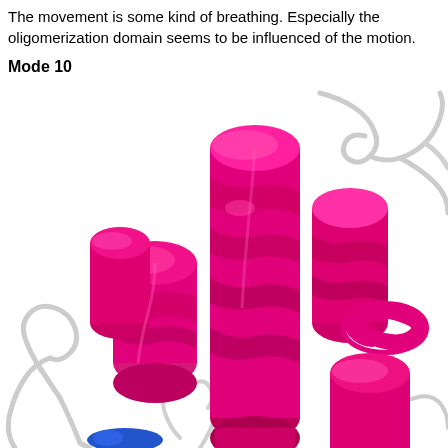The movement is some kind of breathing. Especially the oligomerization domain seems to be influenced of the motion.
Mode 10
[Figure (illustration): 3D molecular structure visualization showing protein alpha-helices rendered as magenta/pink ribbon coils with white loop/coil regions. The helices are arranged in a bundle configuration. A small blue element is visible at the bottom. The image is a close-up view of a protein structure, likely from a molecular visualization program such as PyMOL.]